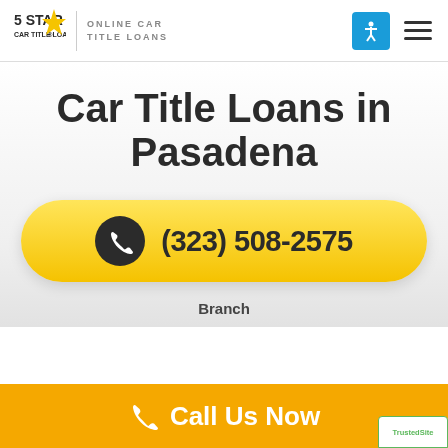[Figure (logo): 5 Star Car Title Loans logo with gold star and text 'ONLINE CAR TITLE LOANS']
Car Title Loans in Pasadena
[Figure (infographic): Yellow rounded button with phone icon and phone number (323) 508-2575]
Branch
[Figure (infographic): Orange bottom bar with white phone icon and 'Call Us Now' text, TrustedSite badge at bottom right]